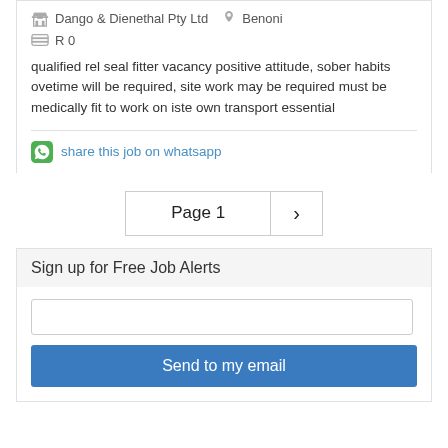Dango & Dienethal Pty Ltd   Benoni
R 0
qualified rel seal fitter vacancy positive attitude, sober habits ovetime will be required, site work may be required must be medically fit to work on iste own transport essential
share this job on whatsapp
Page 1  ›
Sign up for Free Job Alerts
Send to my email